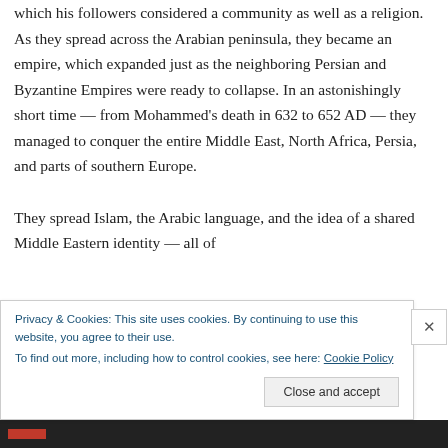which his followers considered a community as well as a religion. As they spread across the Arabian peninsula, they became an empire, which expanded just as the neighboring Persian and Byzantine Empires were ready to collapse. In an astonishingly short time — from Mohammed's death in 632 to 652 AD — they managed to conquer the entire Middle East, North Africa, Persia, and parts of southern Europe.

They spread Islam, the Arabic language, and the idea of a shared Middle Eastern identity — all of
Privacy & Cookies: This site uses cookies. By continuing to use this website, you agree to their use.
To find out more, including how to control cookies, see here: Cookie Policy